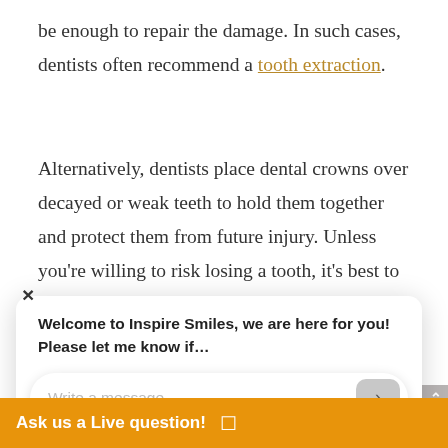be enough to repair the damage. In such cases, dentists often recommend a tooth extraction.
Alternatively, dentists place dental crowns over decayed or weak teeth to hold them together and protect them from future injury. Unless you're willing to risk losing a tooth, it's best to place a dental crown over a
[Figure (screenshot): Chat widget popup showing welcome message from Inspire Smiles: 'Welcome to Inspire Smiles, we are here for you! Please let me know if...' with a text input field 'Write a message...' and send button. A close (X) button appears top left of the popup. At the bottom is an orange 'Ask us a Live question!' bar with chat icon.]
who ha
ire dental